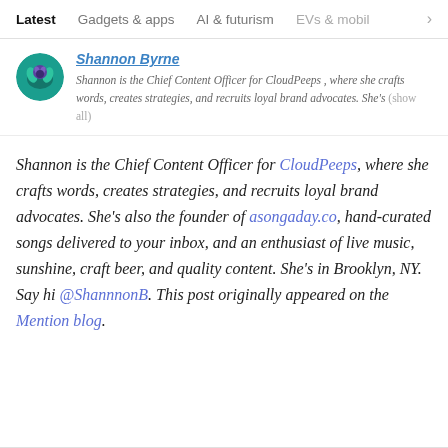Latest   Gadgets & apps   AI & futurism   EVs & mobil  >
Shannon Byrne
Shannon is the Chief Content Officer for CloudPeeps , where she crafts words, creates strategies, and recruits loyal brand advocates. She's (show all)
Shannon is the Chief Content Officer for CloudPeeps, where she crafts words, creates strategies, and recruits loyal brand advocates. She's also the founder of asongaday.co, hand-curated songs delivered to your inbox, and an enthusiast of live music, sunshine, craft beer, and quality content. She's in Brooklyn, NY. Say hi @ShannnonB. This post originally appeared on the Mention blog.